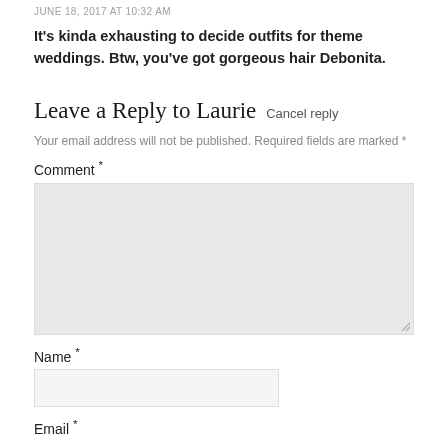JUNE 18, 2017 AT 10:32 AM
It's kinda exhausting to decide outfits for theme weddings. Btw, you've got gorgeous hair Debonita.
Leave a Reply to Laurie Cancel reply
Your email address will not be published. Required fields are marked *
Comment *
[Figure (screenshot): Large comment text input box with light gray background and resize handle]
Name *
[Figure (screenshot): Name text input field with light gray background]
Email *